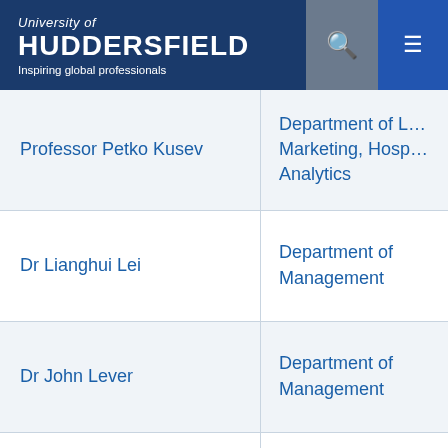[Figure (logo): University of Huddersfield logo with tagline 'Inspiring global professionals' on dark blue header with search and menu icons]
| Name | Department |
| --- | --- |
| Professor Petko Kusev | Department of L… Marketing, Hosp… Analytics |
| Dr Lianghui Lei | Department of Management |
| Dr John Lever | Department of Management |
| Dr Jiajia Liu | Department of Management |